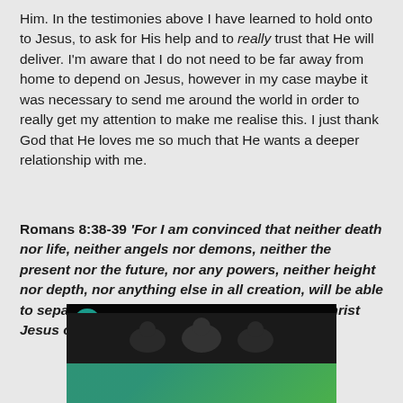Him. In the testimonies above I have learned to hold onto to Jesus, to ask for His help and to really trust that He will deliver. I'm aware that I do not need to be far away from home to depend on Jesus, however in my case maybe it was necessary to send me around the world in order to really get my attention to make me realise this. I just thank God that He loves me so much that He wants a deeper relationship with me.
Romans 8:38-39 'For I am convinced that neither death nor life, neither angels nor demons, neither the present nor the future, nor any powers, neither height nor depth, nor anything else in all creation, will be able to separate us from the love of God that is in Christ Jesus our Lord'
[Figure (screenshot): YouTube video thumbnail showing 'The Hoppers - It's ...' with a teal G circle icon on a dark background, with people visible in the lower portion]